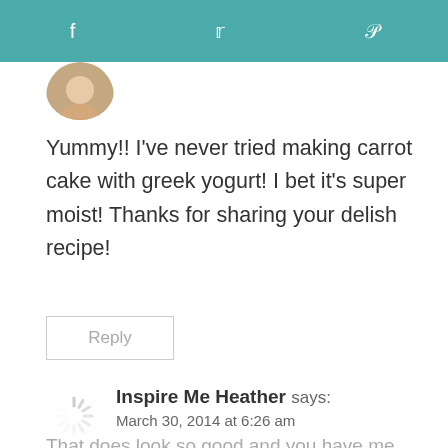f  Twitter  Pinterest
[Figure (photo): Circular avatar/profile picture of a person, partially visible at top]
Yummy!! I've never tried making carrot cake with greek yogurt! I bet it's super moist! Thanks for sharing your delish recipe!
Reply
Inspire Me Heather says: March 30, 2014 at 6:26 am
That does look so good and you have me